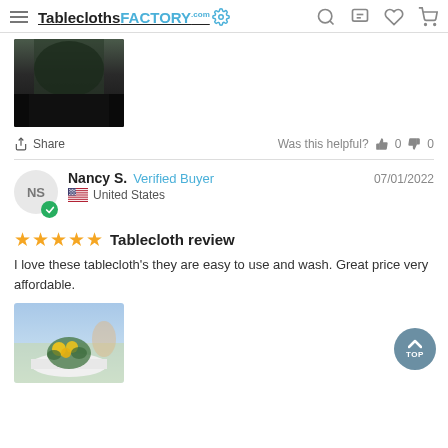TableclothsFACTORY
[Figure (photo): Photo of a black tablecloth draped over a table, dark fabric, partial view]
Share    Was this helpful?  👍 0  👎 0
Nancy S.  Verified Buyer    07/01/2022
United States
★★★★★  Tablecloth review
I love these tablecloth's they are easy to use and wash. Great price very affordable.
[Figure (photo): Photo of a table with a white tablecloth and yellow flower centerpiece, outdoor setting]